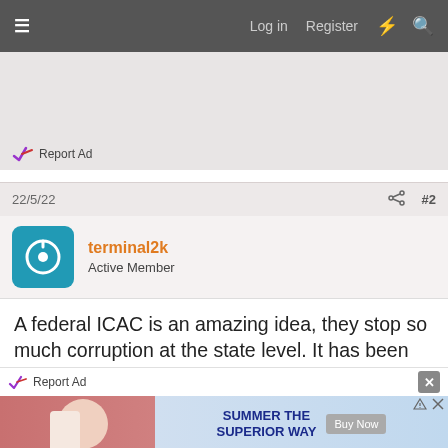≡  Log in  Register  ⚡  🔍
[Figure (other): Advertisement banner area with Report Ad link]
22/5/22  #2
terminal2k
Active Member
A federal ICAC is an amazing idea, they stop so much corruption at the state level. It has been so long I can't even remember the last time a nsw state leader kept saying I can't remember to every question they were asked, I'm pretty sure she answered that even when they asked her what her name was and where she
[Figure (other): Bottom advertisement banner: Report Ad, close button, summer advertisement image with text SUMMER THE SUPERIOR WAY Buy Now]